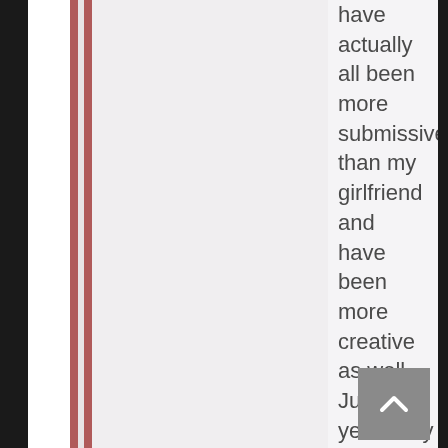have actually all been more submissive than my girlfriend and have been more creative as well. Just last yesterday my regular gave me head on the sofa during the Celtics/Bucks game after our pizza was delivered. I told him "I'm about to cum." He stopped sucking, opened the pizza box and told me to cum on four of the slices. I thought this was fucking weird but I did it anyway. Anyway he picked up a slice and started eating it. I've never been more